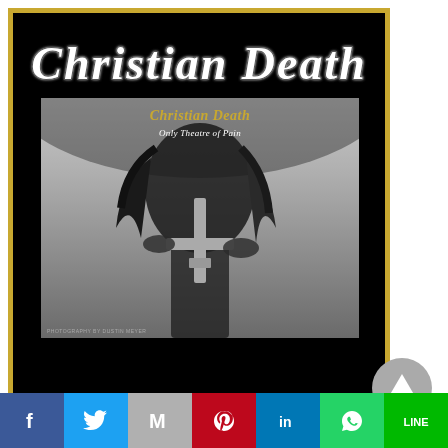[Figure (illustration): Christian Death band product page showing a black card with gold border. At top, 'Christian Death' gothic logo in white. Below, a book cover showing a black-and-white photo of a performer holding an inverted cross, with 'Christian Death Only Theatre of Pain' text in gold gothic lettering on the cover.]
Hardcover Book
220 pages
[Figure (other): Gray circle button with white upward-pointing triangle (scroll to top button)]
[Figure (infographic): Social media sharing bar with seven icons: Facebook (blue), Twitter (light blue), Gmail/Google (gray), Pinterest (red), LinkedIn (blue), WhatsApp (green), Line (green)]